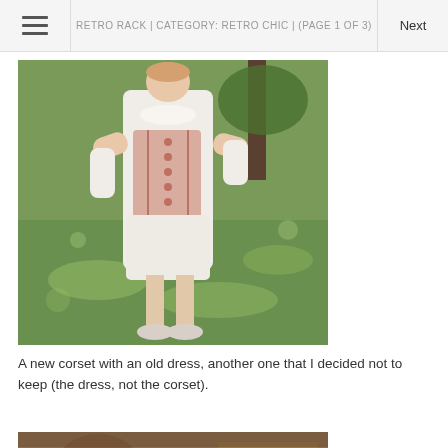RETRO RACK | CATEGORY: RETRO CHIC | (PAGE 1 OF 3)
[Figure (photo): Person wearing a white dress with a pink/beige corset over it, standing outdoors on green grass with trees in background]
A new corset with an old dress, another one that I decided not to keep (the dress, not the corset).
[Figure (photo): Bottom portion of another photo, partially visible, showing warm brown tones]